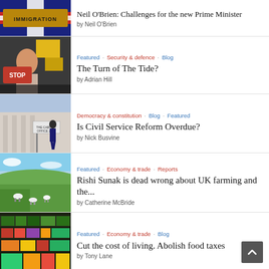[Figure (photo): Immigration mat with UK flag]
Neil O'Brien: Challenges for the new Prime Minister
by Neil O'Brien
[Figure (photo): Protest scene with Stop sign]
Featured · Security & defence · Blog
The Turn of The Tide?
by Adrian Hill
[Figure (photo): Man walking past building with sign]
Democracy & constitution · Blog · Featured
Is Civil Service Reform Overdue?
by Nick Busvine
[Figure (photo): Sheep grazing in green field]
Featured · Economy & trade · Reports
Rishi Sunak is dead wrong about UK farming and the...
by Catherine McBride
[Figure (photo): Supermarket produce display with vegetables]
Featured · Economy & trade · Blog
Cut the cost of living. Abolish food taxes
by Tony Lane